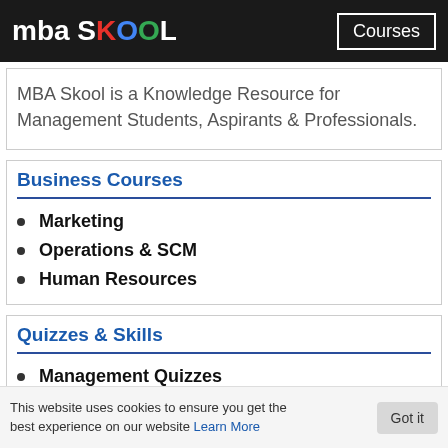mba SKOOL  Courses
MBA Skool is a Knowledge Resource for Management Students, Aspirants & Professionals.
Business Courses
Marketing
Operations & SCM
Human Resources
Quizzes & Skills
Management Quizzes
Skills Tests
This website uses cookies to ensure you get the best experience on our website Learn More  Got it